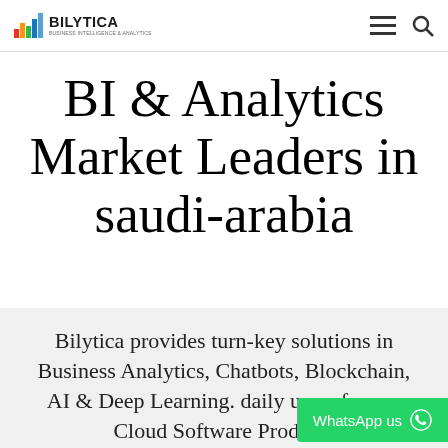BILYTICA [logo with bar chart icon] — Business Intelligence & Analytics
BI & Analytics Market Leaders in saudi-arabia
Bilytica provides turn-key solutions in Business Analytics, Chatbots, Blockchain, AI & Deep Learning. daily users for our Cloud Software Products